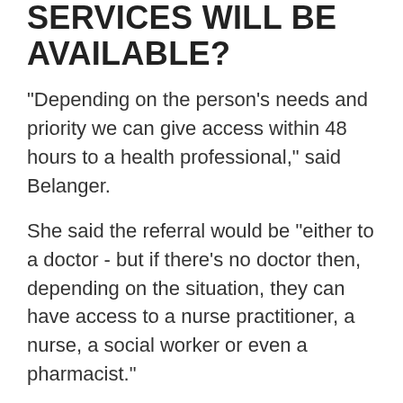SERVICES WILL BE AVAILABLE?
"Depending on the person's needs and priority we can give access within 48 hours to a health professional," said Belanger.
She said the referral would be "either to a doctor - but if there's no doctor then, depending on the situation, they can have access to a nurse practitioner, a nurse, a social worker or even a pharmacist."
Frequently she said, people just need to renew a prescription, but without a family doctor to turn to they don't know how to go about it.
"Pharmacists in many circumstances could renew," Belanger said.